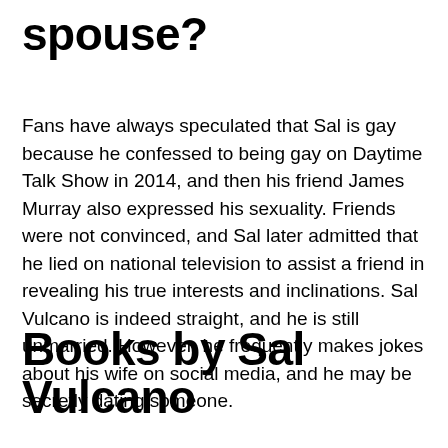spouse?
Fans have always speculated that Sal is gay because he confessed to being gay on Daytime Talk Show in 2014, and then his friend James Murray also expressed his sexuality. Friends were not convinced, and Sal later admitted that he lied on national television to assist a friend in revealing his true interests and inclinations. Sal Vulcano is indeed straight, and he is still unmarried. However, he frequently makes jokes about his wife on social media, and he may be secretly dating someone.
Books by Sal Vulcano